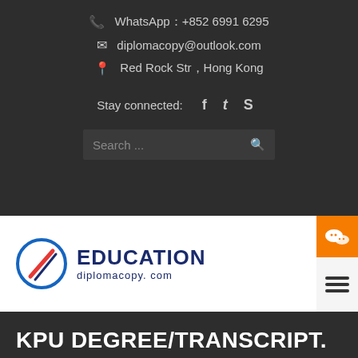WhatsApp：+852 6991 6295
diplomacopy@outlook.com
Red Rock Str，Hong Kong
Stay connected:
[Figure (logo): Education diplomacopy.com logo with circular compass icon]
KPU DEGREE/TRANSCRIPT.